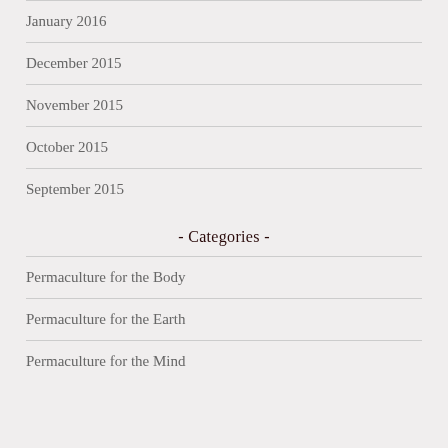January 2016
December 2015
November 2015
October 2015
September 2015
- Categories -
Permaculture for the Body
Permaculture for the Earth
Permaculture for the Mind